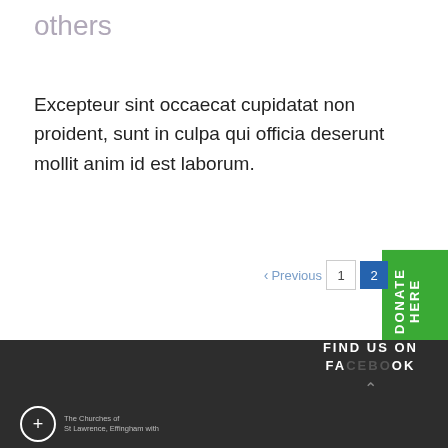others
Excepteur sint occaecat cupidatat non proident, sunt in culpa qui officia deserunt mollit anim id est laborum.
DONATE HERE
< Previous  1  2
FIND US ON FACEBOOK
The Churches of St Lawrence, Effingham with